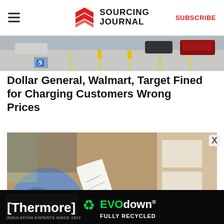SOURCING JOURNAL | SUBSCRIBE
[Figure (photo): Parking lot aerial view with cars and yellow parking lines]
Dollar General, Walmart, Target Fined for Charging Customers Wrong Prices
[Figure (photo): Person holding and reading a paper receipt over a counter with boxes in background]
[Figure (other): Thermore EVO down advertisement banner - Insulation Experts Since 1972, Fully Recycled]